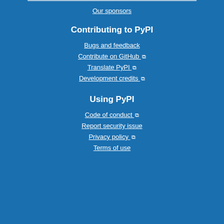Our sponsors
Contributing to PyPI
Bugs and feedback
Contribute on GitHub ↗
Translate PyPI ↗
Development credits ↗
Using PyPI
Code of conduct ↗
Report security issue
Privacy policy ↗
Terms of use